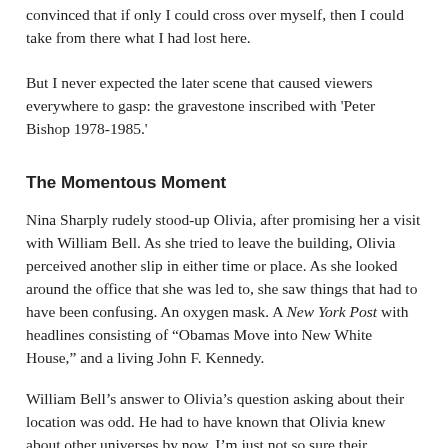convinced that if only I could cross over myself, then I could take from there what I had lost here.
But I never expected the later scene that caused viewers everywhere to gasp: the gravestone inscribed with 'Peter Bishop 1978-1985.'
The Momentous Moment
Nina Sharply rudely stood-up Olivia, after promising her a visit with William Bell. As she tried to leave the building, Olivia perceived another slip in either time or place. As she looked around the office that she was led to, she saw things that had to have been confusing. An oxygen mask. A New York Post with headlines consisting of “Obamas Move into New White House,” and a living John F. Kennedy.
William Bell’s answer to Olivia’s question asking about their location was odd. He had to have known that Olivia knew about other universes by now. I’m just not so sure their